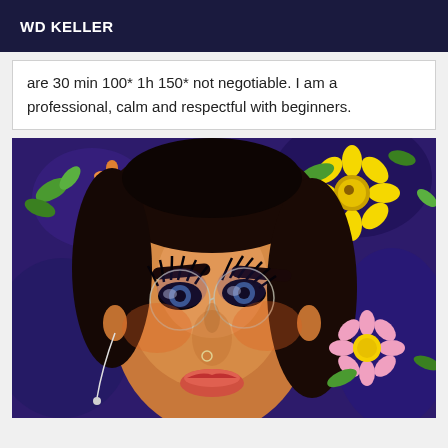WD KELLER
are 30 min 100* 1h 150* not negotiable. I am a professional, calm and respectful with beginners.
[Figure (photo): Selfie of a young woman with glasses and long eyelashes, photographed with a Snapchat-style filter showing flower decorations (yellow daisy and pink daisy) on a dark purple/blue background.]